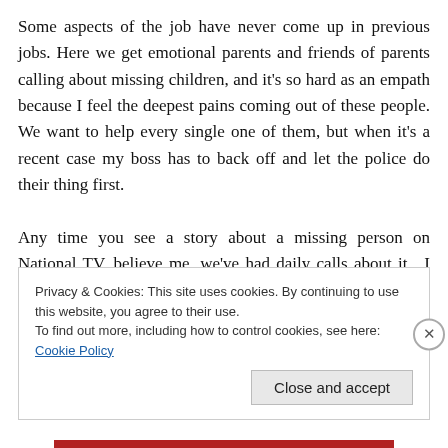Some aspects of the job have never come up in previous jobs. Here we get emotional parents and friends of parents calling about missing children, and it's so hard as an empath because I feel the deepest pains coming out of these people. We want to help every single one of them, but when it's a recent case my boss has to back off and let the police do their thing first.

Any time you see a story about a missing person on National TV, believe me, we've had daily calls about it.  I feel for my boss so much, because even when we do work
Privacy & Cookies: This site uses cookies. By continuing to use this website, you agree to their use.
To find out more, including how to control cookies, see here: Cookie Policy